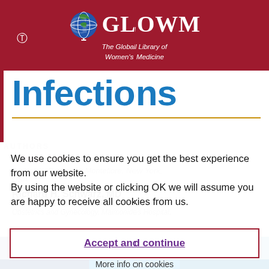GLOWM – The Global Library of Women's Medicine
Infections
AUTHORS
We use cookies to ensure you get the best experience from our website. By using the website or clicking OK we will assume you are happy to receive all cookies from us.
Accept and continue
Richard H. Schwarz, MD
Vice Chairman for Clinical Affairs, Department of Obstetrics and Gynecology, Maimonides Hospital,
More info on cookies
f  Twitter  in